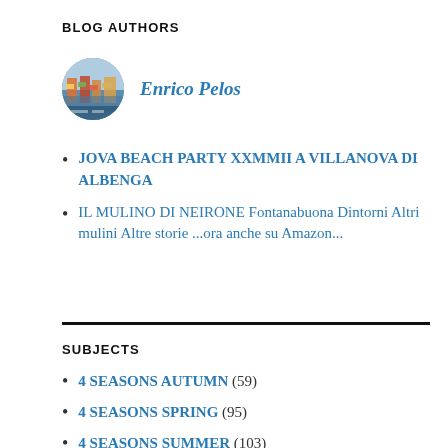BLOG AUTHORS
[Figure (photo): Circular avatar photo of blog author Enrico Pelos]
Enrico Pelos
JOVA BEACH PARTY XXMMII A VILLANOVA DI ALBENGA
IL MULINO DI NEIRONE Fontanabuona Dintorni Altri mulini Altre storie ...ora anche su Amazon...
SUBJECTS
4 SEASONS AUTUMN (59)
4 SEASONS SPRING (95)
4 SEASONS SUMMER (103)